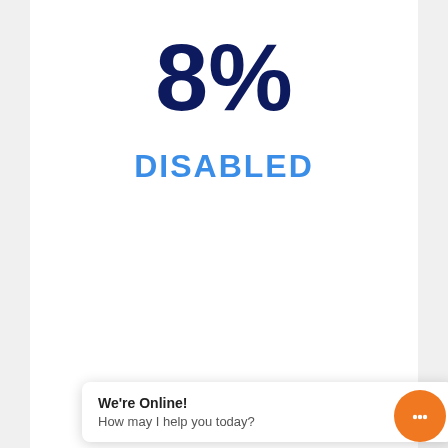8%
DISABLED
10%
HISPANIC LATINO
We're Online!
How may I help you today?